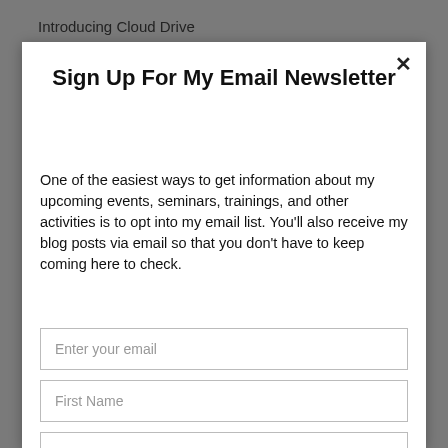Introducing Cloud Drive
Sign Up For My Email Newsletter
One of the easiest ways to get information about my upcoming events, seminars, trainings, and other activities is to opt into my email list. You'll also receive my blog posts via email so that you don't have to keep coming here to check.
Enter your email
First Name
Last Name